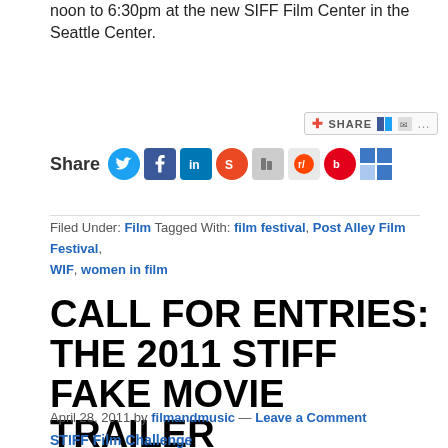noon to 6:30pm at the new SIFF Film Center in the Seattle Center.
Share
Filed Under: Film Tagged With: film festival, Post Alley Film Festival, WIF, women in film
CALL FOR ENTRIES: THE 2011 STIFF FAKE MOVIE TRAILER CHALLENGE
April 28, 2011 by filmandmusic — Leave a Comment
STIFF Film Challenge